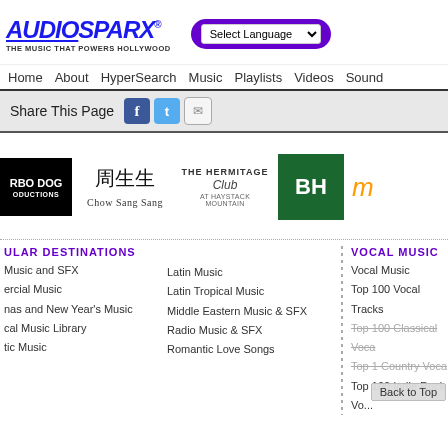[Figure (logo): AudioSparx logo with tagline 'The Music That Powers Hollywood']
Select Language dropdown and search bar
Home   About   HyperSearch   Music   Playlists   Videos   Sound
Share This Page
[Figure (logo): Client logos: Turbo Dog Productions, Chow Sang Sang, The Hermitage Club, BH logo, partial logo]
POPULAR DESTINATIONS
Music and SFX
Commercial Music
Christmas and New Year's Music
Vocal Music Library
Acoustic Music
Latin Music
Latin Tropical Music
Middle Eastern Music & SFX
Radio Music & SFX
Romantic Love Songs
VOCAL MUSIC
Vocal Music
Top 100 Vocal Tracks
Top 100 Classical Vocal
Top 100 Country Vocal
Top 100 Indie Rock Vo...